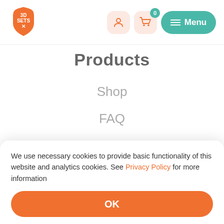[Figure (logo): 3D SETS X logo — orange hexagon-shield shape with white text '3D SETS X']
[Figure (illustration): User icon button (pink/salmon rounded square) and cart icon button (pink/salmon rounded square with teal '0' badge) and teal Menu button with hamburger icon]
Products
Shop
FAQ
Gallery
We use necessary cookies to provide basic functionality of this website and analytics cookies. See Privacy Policy for more information
OK